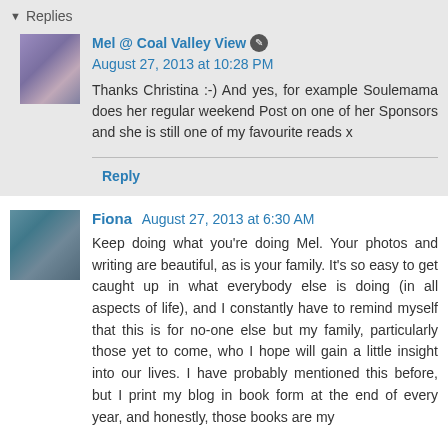▼ Replies
Mel @ Coal Valley View ✎ August 27, 2013 at 10:28 PM
Thanks Christina :-) And yes, for example Soulemama does her regular weekend Post on one of her Sponsors and she is still one of my favourite reads x
Reply
Fiona   August 27, 2013 at 6:30 AM
Keep doing what you're doing Mel. Your photos and writing are beautiful, as is your family. It's so easy to get caught up in what everybody else is doing (in all aspects of life), and I constantly have to remind myself that this is for no-one else but my family, particularly those yet to come, who I hope will gain a little insight into our lives. I have probably mentioned this before, but I print my blog in book form at the end of every year, and honestly, those books are my